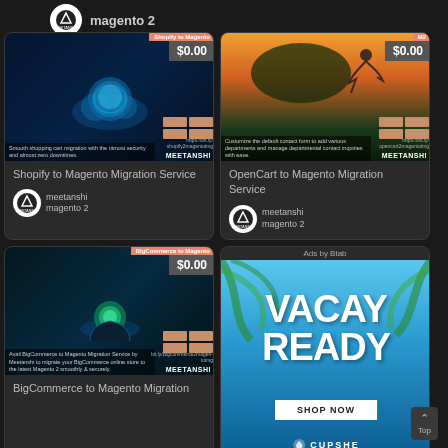magento 2
[Figure (screenshot): Shopify to Magento Migration Service product card with tech background showing glowing cloud, price $0.00, orange grid thumbnails, URL, and MEETANSHI branding]
Shopify to Magento Migration Service
meetanshi magento 2
[Figure (screenshot): OpenCart to Magento Migration Service product card with sunset/jump silhouette image, price $0.00, orange grid thumbnails, URL, and MEETANSHI branding]
OpenCart to Magento Migration Service
meetanshi magento 2
[Figure (screenshot): BigCommerce to Magento Migration Service product card with techy glowing gem background, price $0.00, orange thumbnails, URL, and MEETANSHI branding]
BigCommerce to Magento Migration
[Figure (advertisement): Ads by Btab - VACAY READY SHOP NOW Cupshe advertisement with tropical/palm background in blue sky tones]